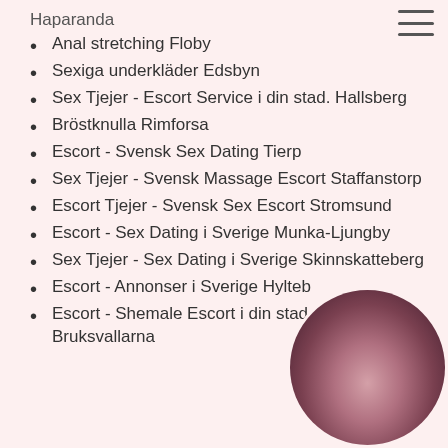Haparanda
Anal stretching Floby
Sexiga underkläder Edsbyn
Sex Tjejer - Escort Service i din stad. Hallsberg
Bröstknulla Rimforsa
Escort - Svensk Sex Dating Tierp
Sex Tjejer - Svensk Massage Escort Staffanstorp
Escort Tjejer - Svensk Sex Escort Stromsund
Escort - Sex Dating i Sverige Munka-Ljungby
Sex Tjejer - Sex Dating i Sverige Skinnskatteberg
Escort - Annonser i Sverige Hylteb…
Escort - Shemale Escort i din stad. Bruksvallarna
[Figure (photo): Circular cropped photo of a woman in bottom-right corner]